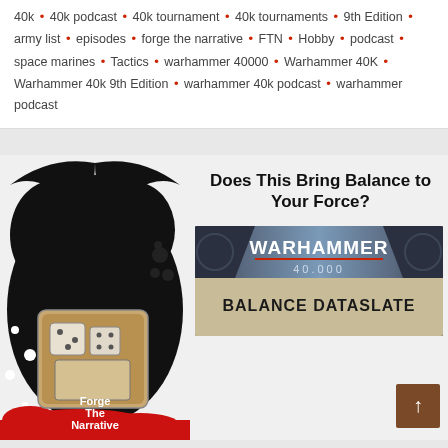40k • 40k podcast • 40k tournament • 40k tournaments • 9th Edition • army list • episodes • forge the narrative • FTN • Hobby • podcast • space marines • Tactics • warhammer 40000 • Warhammer 40K • Warhammer 40k 9th Edition • warhammer 40k podcast • warhammer podcast
[Figure (illustration): Forge The Narrative podcast logo: black eagle/aquila silhouette at top, black ink splatter blob background, cartoon dice and card/glass illustration in center, white bubbles, red splatter at bottom, white text 'Forge The Narrative']
Does This Bring Balance to Your Force?
[Figure (illustration): Warhammer 40,000 Balance Dataslate promotional banner with blue/silver chevron logo, dark mechanical background, text WARHAMMER 40.000 BALANCE DATASLATE on parchment/tan background]